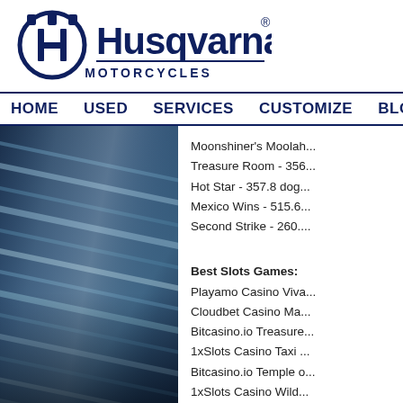[Figure (logo): Husqvarna Motorcycles logo - navy blue stylized H in circle crown emblem with 'Husqvarna' wordmark and 'MOTORCYCLES' subtitle]
HOME   USED   SERVICES   CUSTOMIZE   BLOG   LI...
[Figure (photo): Close-up photograph of a dark blue metallic or fabric surface with parallel ridged lines, appearing to be a motorcycle fuel tank or seat detail]
Moonshiner's Moolah...
Treasure Room - 356...
Hot Star - 357.8 dog...
Mexico Wins - 515.6...
Second Strike - 260....
Best Slots Games:
Playamo Casino Viva...
Cloudbet Casino Ma...
Bitcasino.io Treasure...
1xSlots Casino Taxi ...
Bitcasino.io Temple o...
1xSlots Casino Wild...
Vegas Crest Casino...